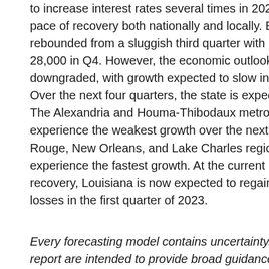to increase interest rates several times in 2022. This will dampen the pace of recovery both nationally and locally. Employment in Louisiana rebounded from a sluggish third quarter with (net) gains of almost 28,000 in Q4. However, the economic outlook for Louisiana is being downgraded, with growth expected to slow in the second half of 2022. Over the next four quarters, the state is expected to gain 33,000 jobs. The Alexandria and Houma-Thibodaux metro regions are expected to experience the weakest growth over the next year, while the Baton Rouge, New Orleans, and Lake Charles regions are expected to experience the fastest growth. At the current pace of the economic recovery, Louisiana is now expected to regain all COVID-related jobs losses in the first quarter of 2023.
Every forecasting model contains uncertainty.The results in this report are intended to provide broad guidance and